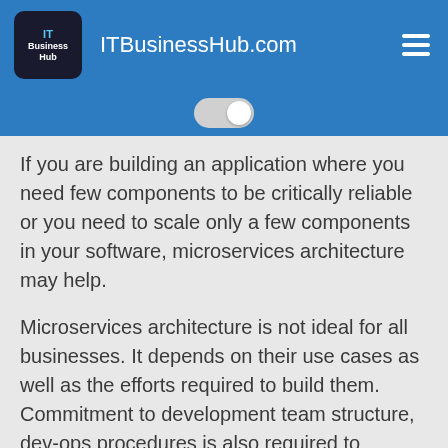ITBusinessHub.com
If you are building an application where you need few components to be critically reliable or you need to scale only a few components in your software, microservices architecture may help.
Microservices architecture is not ideal for all businesses. It depends on their use cases as well as the efforts required to build them. Commitment to development team structure, dev-ops procedures is also required to efficiently manage a microservices project.